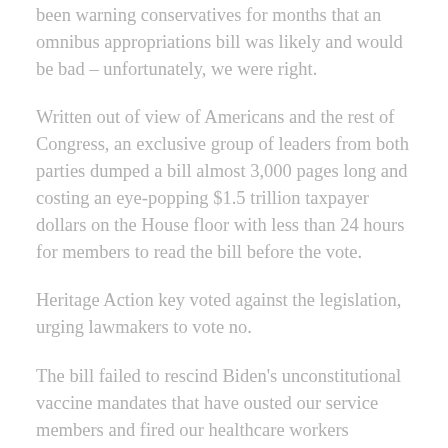been warning conservatives for months that an omnibus appropriations bill was likely and would be bad – unfortunately, we were right.
Written out of view of Americans and the rest of Congress, an exclusive group of leaders from both parties dumped a bill almost 3,000 pages long and costing an eye-popping $1.5 trillion taxpayer dollars on the House floor with less than 24 hours for members to read the bill before the vote.
Heritage Action key voted against the legislation, urging lawmakers to vote no.
The bill failed to rescind Biden's unconstitutional vaccine mandates that have ousted our service members and fired our healthcare workers…